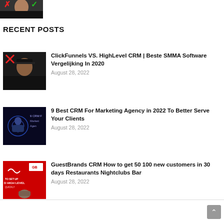[Figure (photo): Small thumbnail of a person with red X and green checkmark overlay]
RECENT POSTS
[Figure (photo): Thumbnail of a person wearing a black hat against dark background with red X overlay]
ClickFunnels VS. HighLevel CRM | Beste SMMA Software Vergelijking In 2020
August 28, 2022
[Figure (photo): Thumbnail showing 9 CRM Marketing Agency text on dark blue tech background]
9 Best CRM For Marketing Agency in 2022 To Better Serve Your Clients
August 28, 2022
[Figure (photo): Thumbnail showing red background with GuestBrands logo and HIGH LEVEL text]
GuestBrands CRM How to get 50 100 new customers in 30 days Restaurants Nightclubs Bar
August 28, 2022